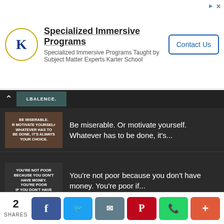[Figure (infographic): Advertisement banner for Karter School Specialized Immersive Programs with logo, text, and Contact Us button]
[Figure (infographic): Motivational quote image: BE MISERABLE. R MOTIVATE YOURSELF WHATEVER HAS TO BE DONE, IT'S ALWAYS YOUR CHOICE.]
Be miserable. Or motivate yourself. Whatever has to be done, it's...
[Figure (infographic): Motivational quote image: YOU'RE NOT POOR BECAUSE YOU DON'T HAVE MONEY. YOU'RE POOR IF YOU DON'T HAVE]
You're not poor because you don't have money. You're poor if...
[Figure (infographic): Motivational quote image: EVERYONE IS NOT REPLACEABLE... WATCH HOW YOU TREAT GOOD PEOPLE. UNKNOWN]
Everyone is NOT replaceable… watch how you treat good people. –...
2 SHARES — Facebook, Twitter, Email, Pinterest, WhatsApp, More